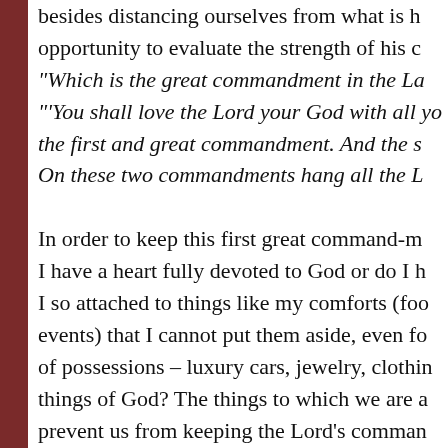besides distancing ourselves from what is h… opportunity to evaluate the strength of his c…
“Which is the great commandment in the La…
“‘You shall love the Lord your God with all yo… the first and great commandment. And the s… On these two commandments hang all the L…
In order to keep this first great command-m… I have a heart fully devoted to God or do I h… I so attached to things like my comforts (foo… events) that I cannot put them aside, even fo… of possessions – luxury cars, jewelry, clothin… things of God? The things to which we are a… prevent us from keeping the Lord’s comman…